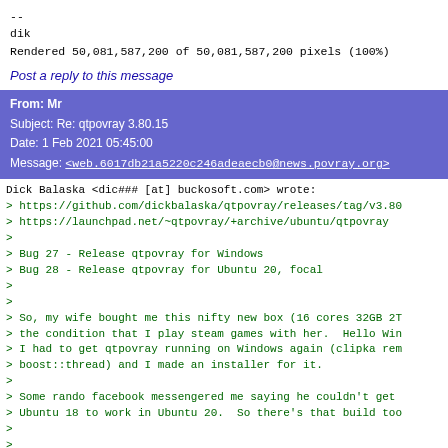--
dik
Rendered 50,081,587,200 of 50,081,587,200 pixels (100%)
Post a reply to this message
From: Mr
Subject: Re: qtpovray 3.80.15
Date: 1 Feb 2021 05:45:00
Message: <web.6017db21a5220c246adeaecb0@news.povray.org>
Dick Balaska <dic### [at] buckosoft.com> wrote:
> https://github.com/dickbalaska/qtpovray/releases/tag/v3.80
> https://launchpad.net/~qtpovray/+archive/ubuntu/qtpovray
>
> Bug 27 - Release qtpovray for Windows
> Bug 28 - Release qtpovray for Ubuntu 20, focal
>
>
> So, my wife bought me this nifty new box (16 cores 32GB 2T
> the condition that I play steam games with her.  Hello Win
> I had to get qtpovray running on Windows again (clipka rem
> boost::thread) and I made an installer for it.
>
> Some rando facebook messengered me saying he couldn't get
> Ubuntu 18 to work in Ubuntu 20.  So there's that build too
>
>
> > --
> dik
> Rendered 50,081,587,200 of 50,081,587,200 pixels (100%)